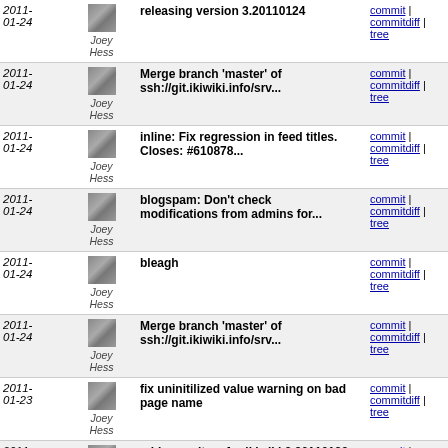| Date | Author | Message | Links |
| --- | --- | --- | --- |
| 2011-01-24 | Joey Hess | releasing version 3.20110124 | commit | commitdiff | tree |
| 2011-01-24 | Joey Hess | Merge branch 'master' of ssh://git.ikiwiki.info/srv... | commit | commitdiff | tree |
| 2011-01-24 | Joey Hess | inline: Fix regression in feed titles. Closes: #610878... | commit | commitdiff | tree |
| 2011-01-24 | Joey Hess | blogspam: Don't check modifications from admins for... | commit | commitdiff | tree |
| 2011-01-24 | Joey Hess | bleagh | commit | commitdiff | tree |
| 2011-01-24 | Joey Hess | Merge branch 'master' of ssh://git.ikiwiki.info/srv... | commit | commitdiff | tree |
| 2011-01-23 | Joey Hess | fix uninitilized value warning on bad page name | commit | commitdiff | tree |
| 2011-01-23 | Joey Hess | add news item for ikiwiki 3.20110123 | commit | commitdiff | tree |
| 2011-01-23 | Joey Hess | releasing version 3.20110123 | commit | commitdiff | tree |